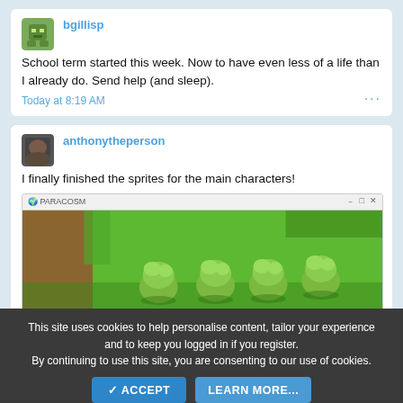bgillisp
School term started this week. Now to have even less of a life than I already do. Send help (and sleep).
Today at 8:19 AM
anthonytheperson
I finally finished the sprites for the main characters!
[Figure (screenshot): Game screenshot showing PARACOSM application window with pixel-art style characters (green blob-like creatures) on a green grassy background]
Today at 8:07 AM
This site uses cookies to help personalise content, tailor your experience and to keep you logged in if you register. By continuing to use this site, you are consenting to our use of cookies.